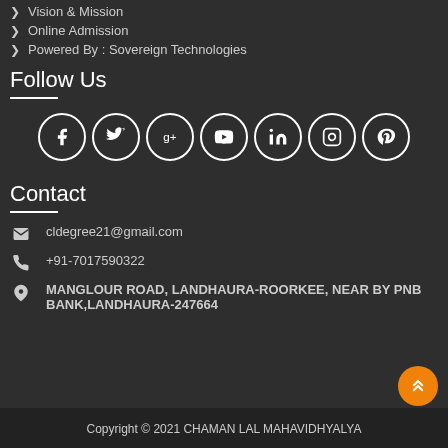Vision & Mission
Online Admission
Powered By : Sovereign Technologies
Follow Us
[Figure (infographic): Social media icons in circles: Facebook, Twitter, Google+, YouTube, LinkedIn, Instagram, Pinterest]
Contact
cldegree21@gmail.com
+91-7017590322
MANGLOUR ROAD, LANDHAURA-ROORKEE, NEAR BY PNB BANK,LANDHAURA-247664
Copyright © 2021 CHAMAN LAL MAHAVIDHYALYA